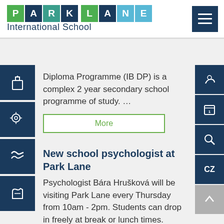[Figure (logo): Park Lane International School logo with colored letter blocks and hamburger menu]
Diploma Programme (IB DP) is a complex 2 year secondary school programme of study. …
More
New school psychologist at Park Lane
Psychologist Bára Hrušková will be visiting Park Lane every Thursday from 10am - 2pm. Students can drop in freely at break or lunch times. Alternatively, if they want to see Ms Hrušková …
More
International Christmas Festival
The christmas festival at this year is ...